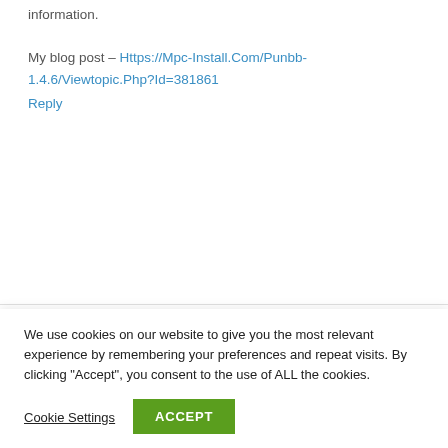information.

My blog post – Https://Mpc-Install.Com/Punbb-1.4.6/Viewtopic.Php?Id=381861
Reply
Clubriders.Men says:
We use cookies on our website to give you the most relevant experience by remembering your preferences and repeat visits. By clicking "Accept", you consent to the use of ALL the cookies.
Cookie Settings  ACCEPT